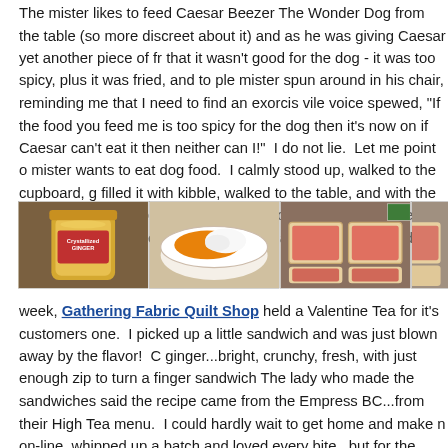The mister likes to feed Caesar Beezer The Wonder Dog from the table (so more discreet about it) and as he was giving Caesar yet another piece of fr that it wasn't good for the dog - it was too spicy, plus it was fried, and to ple mister spun around in his chair, reminding me that I need to find an exorcis vile voice spewed, "If the food you feed me is too spicy for the dog then it's now on if Caesar can't eat it then neither can I!" I do not lie. Let me point o mister wants to eat dog food. I calmly stood up, walked to the cupboard, g filled it with kibble, walked to the table, and with the speed of an eagle pluc water, switched out the mister's plate with the bowl full of kibble. He was n and I had ourselves a good laugh.
[Figure (photo): Four food preparation photos side by side: a jar of crystallized ginger, a bowl with shredded carrots and other ingredients, slices of bread with meat/salmon, and a partial fourth image.]
week, Gathering Fabric Quilt Shop held a Valentine Tea for it's customers one. I picked up a little sandwich and was just blown away by the flavor! C ginger...bright, crunchy, fresh, with just enough zip to turn a finger sandwich The lady who made the sandwiches said the recipe came from the Empress BC...from their High Tea menu. I could hardly wait to get home and make n on-line, whipped up a batch and loved every bite...but for the second batch changes...and in honor of the Empress, (fab hotel, fab city) I decided to eat